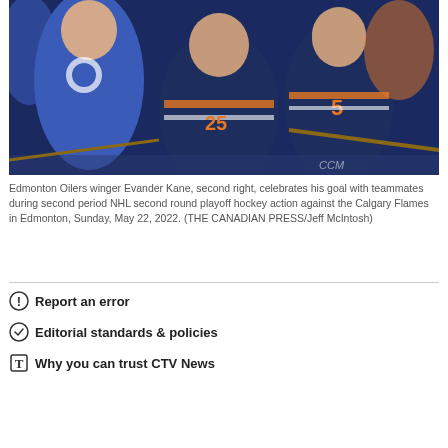[Figure (photo): Edmonton Oilers hockey players in dark navy jerseys celebrating a goal, hugging near the boards. Player number 25 and player number 5 visible. Fans in orange and blue Oilers jerseys in background.]
Edmonton Oilers winger Evander Kane, second right, celebrates his goal with teammates during second period NHL second round playoff hockey action against the Calgary Flames in Edmonton, Sunday, May 22, 2022. (THE CANADIAN PRESS/Jeff McIntosh)
ⓘ Report an error
⊙ Editorial standards & policies
⊺ Why you can trust CTV News